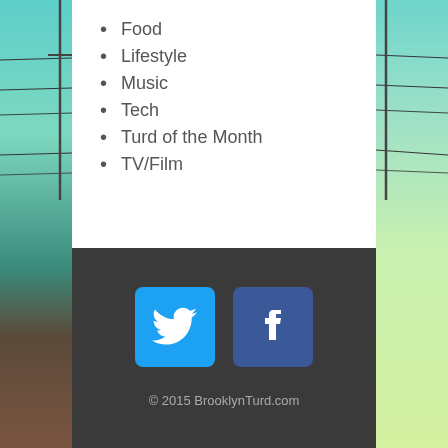Food
Lifestyle
Music
Tech
Turd of the Month
TV/Film
[Figure (logo): Twitter bird icon on blue rounded square background]
[Figure (logo): Facebook 'f' icon on dark blue rounded square background]
© 2015 BrooklynTurd.com